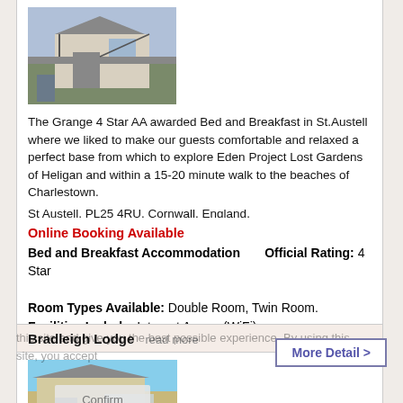[Figure (photo): Exterior photo of The Grange B&B, showing a house with steps and iron railings]
The Grange 4 Star AA awarded Bed and Breakfast in St.Austell where we liked to make our guests comfortable and relaxed a perfect base from which to explore Eden Project Lost Gardens of Heligan and within a 15-20 minute walk to the beaches of Charlestown.
St Austell, PL25 4RU, Cornwall, England.
Online Booking Available
Bed and Breakfast Accommodation    Official Rating: 4 Star
Room Types Available: Double Room, Twin Room.
Facilities Include: Internet Access(WiFi)
More Detail >
Bradleigh Lodge
[Figure (photo): Exterior photo of Bradleigh Lodge, a house with a conservatory and garden]